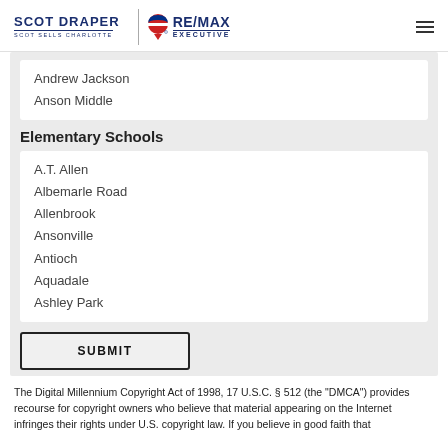Scot Draper | RE/MAX EXECUTIVE | Scot Sells Charlotte
Andrew Jackson
Anson Middle
Elementary Schools
A.T. Allen
Albemarle Road
Allenbrook
Ansonville
Antioch
Aquadale
Ashley Park
SUBMIT
The Digital Millennium Copyright Act of 1998, 17 U.S.C. § 512 (the "DMCA") provides recourse for copyright owners who believe that material appearing on the Internet infringes their rights under U.S. copyright law. If you believe in good faith that